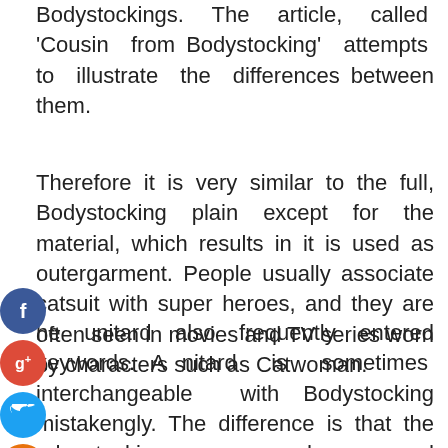Bodystockings. The article, called 'Cousin from Bodystocking' attempts to illustrate the differences between them.
Therefore it is very similar to the full, Bodystocking plain except for the material, which results in it is used as outergarment. People usually associate catsuit with super heroes, and they are often seen in movies and TV series worn by characters such as Catwoman.
he unitard also frequently entered keywords. A nitard is sometimes interchangeable with Bodystocking mistakengly. The difference is that the ody stocking worn as underwear, and because it is made of thin material (usually sheer or mesh), whereas unitard is a outergarment, clearer in
[Figure (other): Social media share icons: Facebook (blue), Google+ (red), Twitter (light blue), and a plus/add button (orange)]